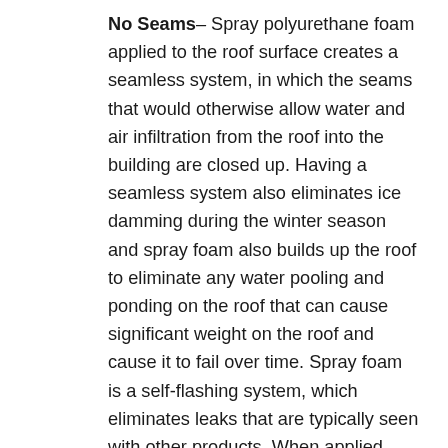No Seams– Spray polyurethane foam applied to the roof surface creates a seamless system, in which the seams that would otherwise allow water and air infiltration from the roof into the building are closed up. Having a seamless system also eliminates ice damming during the winter season and spray foam also builds up the roof to eliminate any water pooling and ponding on the roof that can cause significant weight on the roof and cause it to fail over time. Spray foam is a self-flashing system, which eliminates leaks that are typically seen with other products. When applied, spray foam conforms to the roof substrate so it flashes mechanical equipment, skylights, and parapet walls.